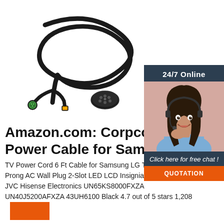[Figure (photo): Black power cable/cord with multiple connectors: a round green multi-pin connector, an orange/yellow connector, and a large 7-pin black connector at the end, coiled on white background]
[Figure (photo): 24/7 Online customer chat widget showing a smiling woman with headset, dark navy background with 'Click here for free chat!' text and orange QUOTATION button]
Amazon.com: Corpco 10 Power Cable for Samsung
TV Power Cord 6 Ft Cable for Samsung LG TCL Sony: 2 Prong AC Wall Plug 2-Slot LED LCD Insignia Sharp Toshiba JVC Hisense Electronics UN65KS8000FXZA UN40J5200AFXZA 43UH6100 Black 4.7 out of 5 stars 1,208